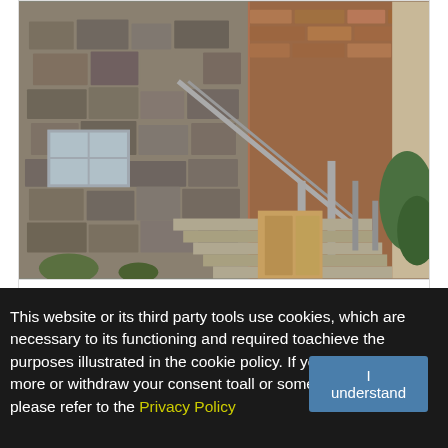[Figure (photo): Exterior photo of a stone house with brick accents, metal staircase railing, wooden doors underneath stairs, and green plants on the right side.]
Description
House for sale in Peshtera (ID: 8191)
District: Peshtera
This website or its third party tools use cookies, which are necessary to its functioning and required toachieve the purposes illustrated in the cookie policy. If you want to know more or withdraw your consent toall or some of the cookies, please refer to the Privacy Policy
I understand